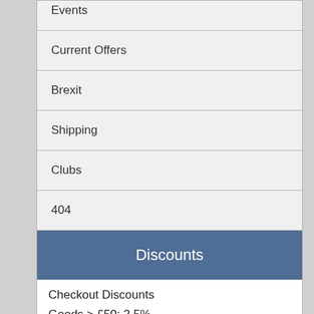Events
Current Offers
Brexit
Shipping
Clubs
404
Discounts
Checkout Discounts
Goods > £50; 2.5%
Goods > £100; 5%
Goods > £150; 7.5%